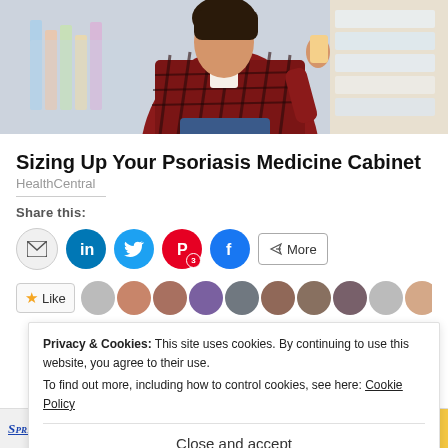[Figure (photo): Woman in a plaid shirt reading a product label in a pharmacy/store aisle]
Sizing Up Your Psoriasis Medicine Cabinet
HealthCentral
Share this:
[Figure (infographic): Social share buttons: email, LinkedIn, Twitter, Pinterest (3), Facebook, More]
[Figure (infographic): Like button with star icon and row of avatar profile pictures]
Privacy & Cookies: This site uses cookies. By continuing to use this website, you agree to their use.
To find out more, including how to control cookies, see here: Cookie Policy
Close and accept
Springtime Blog Party
of awesome membership with BANE BEFORE BLUE ELSE